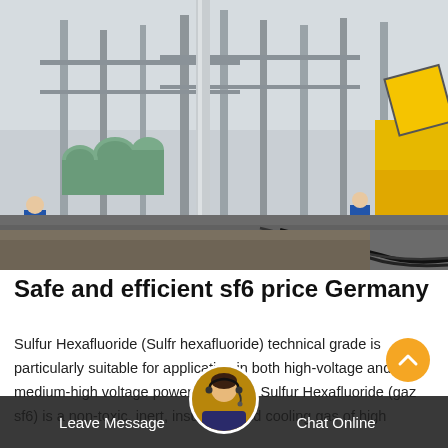[Figure (photo): Workers in blue uniforms at an electrical substation with large equipment, transformers, metal poles and a yellow service truck on the right side.]
Safe and efficient sf6 price Germany
Sulfur Hexafluoride (Sulfr hexafluoride) technical grade is particularly suitable for application in both high-voltage and medium-high voltage power breakers. Sulfur Hexafluoride (gaz sf6) is a non-toxic, inert, insulating and cooling gas of high